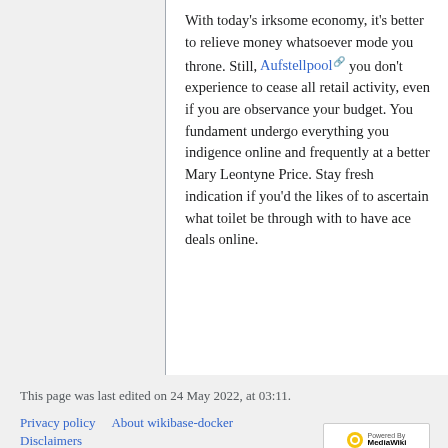With today's irksome economy, it's better to relieve money whatsoever mode you throne. Still, Aufstellpool you don't experience to cease all retail activity, even if you are observance your budget. You fundament undergo everything you indigence online and frequently at a better Mary Leontyne Price. Stay fresh indication if you'd the likes of to ascertain what toilet be through with to have ace deals online.
This page was last edited on 24 May 2022, at 03:11.
Privacy policy   About wikibase-docker   Disclaimers